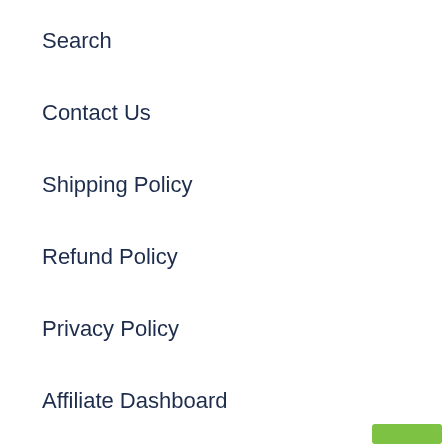Search
Contact Us
Shipping Policy
Refund Policy
Privacy Policy
Affiliate Dashboard
Sign up to hear from us about promotions, news, new classes, and training events.